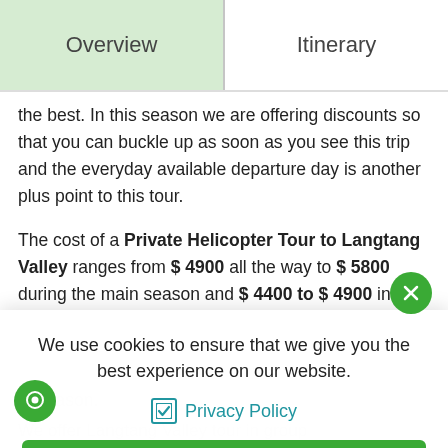Overview | Itinerary
the best. In this season we are offering discounts so that you can buckle up as soon as you see this trip and the everyday available departure day is another plus point to this tour.
The cost of a Private Helicopter Tour to Langtang Valley ranges from $ 4900 all the way to $ 5800 during the main season and $ 4400 to $ 4900 in the offseason.
We use cookies to ensure that we give you the best experience on our website.
Privacy Policy
Allow Cookies